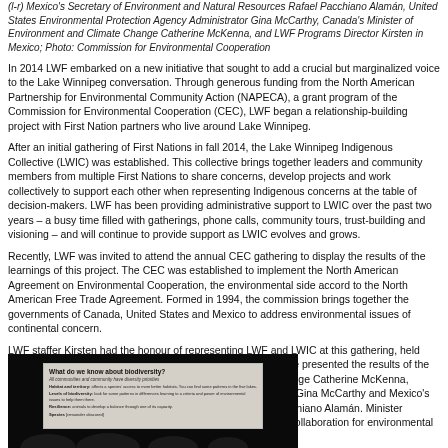(l-r) Mexico's Secretary of Environment and Natural Resources Rafael Pacchiano Alamán, United States Environmental Protection Agency Administrator Gina McCarthy, Canada's Minister of Environment and Climate Change Catherine McKenna, and LWF Programs Director Kirsten in Mexico; Photo: Commission for Environmental Cooperation
In 2014 LWF embarked on a new initiative that sought to add a crucial but marginalized voice to the Lake Winnipeg conversation. Through generous funding from the North American Partnership for Environmental Community Action (NAPECA), a grant program of the Commission for Environmental Cooperation (CEC), LWF began a relationship-building project with First Nation partners who live around Lake Winnipeg.
After an initial gathering of First Nations in fall 2014, the Lake Winnipeg Indigenous Collective (LWIC) was established. This collective brings together leaders and community members from multiple First Nations to share concerns, develop projects and work collectively to support each other when representing Indigenous concerns at the table of decision-makers. LWF has been providing administrative support to LWIC over the past two years – a busy time filled with gatherings, phone calls, community tours, trust-building and visioning – and will continue to provide support as LWIC evolves and grows.
Recently, LWF was invited to attend the annual CEC gathering to display the results of the learnings of this project. The CEC was established to implement the North American Agreement on Environmental Cooperation, the environmental side accord to the North American Free Trade Agreement. Formed in 1994, the commission brings together the governments of Canada, United States and Mexico to address environmental issues of continental concern.
LWF staffer Kirsten had the honour of representing LWF and LWIC at this gathering, held earlier this month in Merida, Yucatan, Mexico. While there, she presented the results of the project to Canada's Minister of Environment and Climate Change Catherine McKenna, United States Environmental Protection Agency Administrator Gina McCarthy and Mexico's Secretary of Environment and Natural Resources Rafael Pacchiano Alamán. Minister McKenna was especially interested in this project's focus on collaboration for environmental sustainability!
[Figure (photo): A dark photograph showing a presentation slide on a screen in a dimly lit room. The slide title reads 'What do we know about biodiversity?' with several bullet points visible beneath. The silhouettes of audience members are visible at the bottom of the image.]